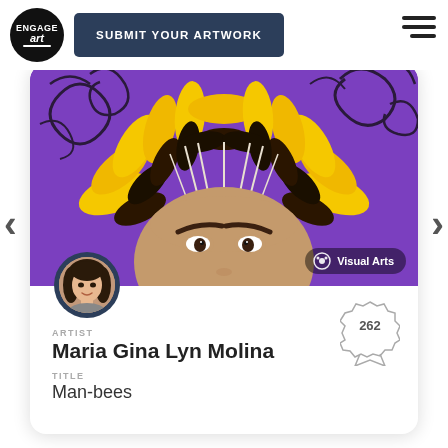[Figure (logo): Engage Art circular logo in black circle]
SUBMIT YOUR ARTWORK
[Figure (illustration): Painting of a person wearing a sunflower/feather headdress on purple background]
Visual Arts
[Figure (photo): Circular avatar portrait of a young woman with dark hair]
262
ARTIST
Maria Gina Lyn Molina
TITLE
Man-bees